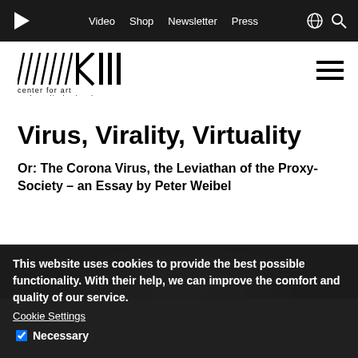Video  Shop  Newsletter  Press
[Figure (logo): ZKM center for art and media karlsruhe logo with diagonal lines and stylized letters]
Virus, Virality, Virtuality
Or: The Corona Virus, the Leviathan of the Proxy-Society – an Essay by Peter Weibel
[Figure (photo): Black and white close-up photo of a person's face/head from above]
This website uses cookies to provide the best possible functionality. With their help, we can improve the comfort and quality of our service.
Cookie Settings
Necessary